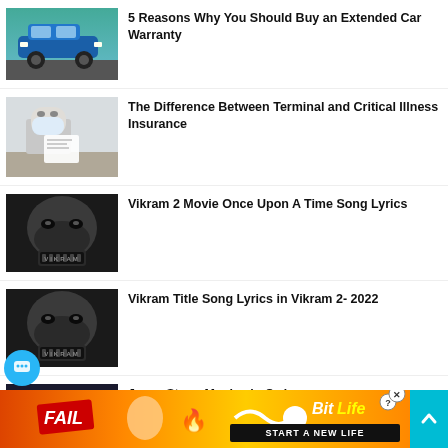5 Reasons Why You Should Buy an Extended Car Warranty
The Difference Between Terminal and Critical Illness Insurance
Vikram 2 Movie Once Upon A Time Song Lyrics
Vikram Title Song Lyrics in Vikram 2- 2022
Jesse Stone Movies in Order
[Figure (infographic): Advertisement banner for BitLife game showing FAIL text, cartoon character, and 'START A NEW LIFE' tagline]